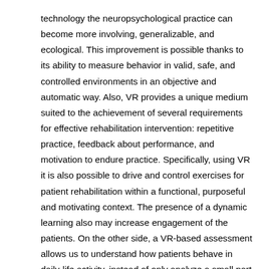technology the neuropsychological practice can become more involving, generalizable, and ecological. This improvement is possible thanks to its ability to measure behavior in valid, safe, and controlled environments in an objective and automatic way. Also, VR provides a unique medium suited to the achievement of several requirements for effective rehabilitation intervention: repetitive practice, feedback about performance, and motivation to endure practice. Specifically, using VR it is also possible to drive and control exercises for patient rehabilitation within a functional, purposeful and motivating context. The presence of a dynamic learning also may increase engagement of the patients. On the other side, a VR-based assessment allows us to understand how patients behave in daily-life activity, instead of only analyze a small part of a complex constructs. A mixed approach may conduct the clinicians to a deeper knowledge of patients.